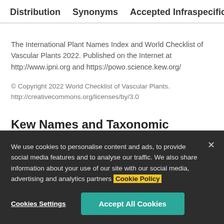Distribution   Synonyms   Accepted Infraspecifics   Pu
The International Plant Names Index and World Checklist of Vascular Plants 2022. Published on the Internet at http://www.ipni.org and https://powo.science.kew.org/
© Copyright 2022 World Checklist of Vascular Plants. http://creativecommons.org/licenses/by/3.0
Kew Names and Taxonomic Backbone
We use cookies to personalise content and ads, to provide social media features and to analyse our traffic. We also share information about your use of our site with our social media, advertising and analytics partners Cookie Policy
Cookies Settings   Accept All Cookies